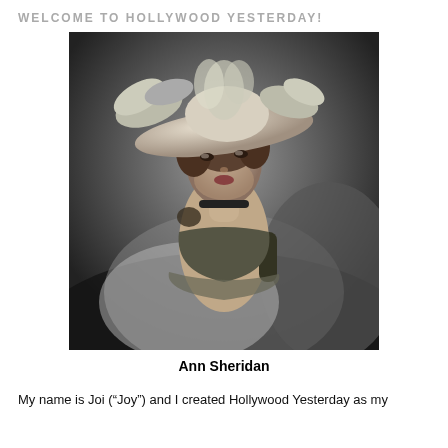WELCOME TO HOLLYWOOD YESTERDAY!
[Figure (photo): Black and white glamour photograph of Ann Sheridan, a classic Hollywood actress, wearing a large feathered hat and a strapless dress with ruffles, posed elegantly against a dark studio background.]
Ann Sheridan
My name is Joi (“Joy”) and I created Hollywood Yesterday as my